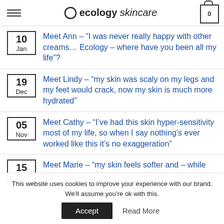ecology skincare
Meet Ann – “I was never really happy with other creams… Ecology – where have you been all my life”? | 10 Jan
Meet Lindy – “my skin was scaly on my legs and my feet would crack, now my skin is much more hydrated” | 19 Dec
Meet Cathy – “I’ve had this skin hyper-sensitivity most of my life, so when I say nothing’s ever worked like this it’s no exaggeration” | 05 Nov
Meet Marie – “my skin feels softer and – while the wrinkles are definitely still there – I would like to | 15 Aug
This website uses cookies to improve your experience with our brand. We’ll assume you’re ok with this.
Accept | Read More